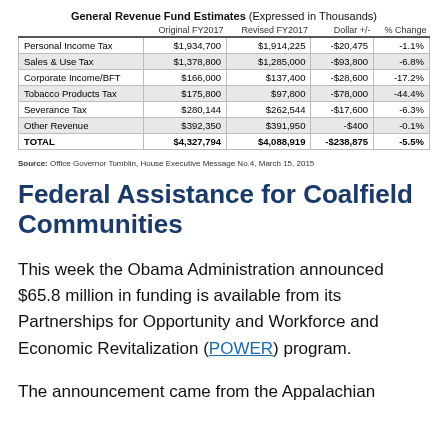|  | Original FY2017 | Revised FY2017 | Dollar +/- | % Change |
| --- | --- | --- | --- | --- |
| Personal Income Tax | $1,934,700 | $1,914,225 | -$20,475 | -1.1% |
| Sales & Use Tax | $1,378,800 | $1,285,000 | -$93,800 | -6.8% |
| Corporate Income/BFT | $166,000 | $137,400 | -$28,600 | -17.2% |
| Tobacco Products Tax | $175,800 | $97,800 | -$78,000 | -44.4% |
| Severance Tax | $280,144 | $262,544 | -$17,600 | -6.3% |
| Other Revenue | $392,350 | $391,950 | -$400 | -0.1% |
| TOTAL | $4,327,794 | $4,088,919 | -$238,875 | -5.5% |
Source: Office Governor Tomblin, House Executive Message No.4, March 15, 2015
Federal Assistance for Coalfield Communities
This week the Obama Administration announced $65.8 million in funding is available from its Partnerships for Opportunity and Workforce and Economic Revitalization (POWER) program.
The announcement came from the Appalachian